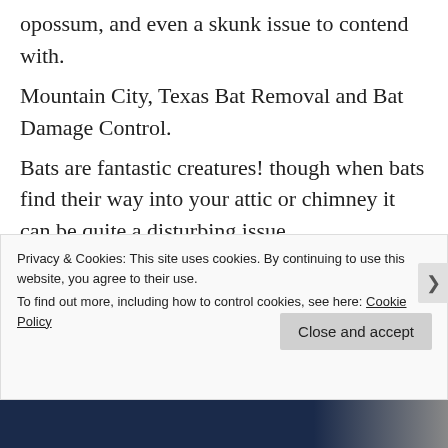opossum, and even a skunk issue to contend with. Mountain City, Texas Bat Removal and Bat Damage Control. Bats are fantastic creatures! though when bats find their way into your attic or chimney it can be quite a disturbing issue. Female bats only have one youth a year typically and around its
Privacy & Cookies: This site uses cookies. By continuing to use this website, you agree to their use.
To find out more, including how to control cookies, see here: Cookie Policy
Close and accept